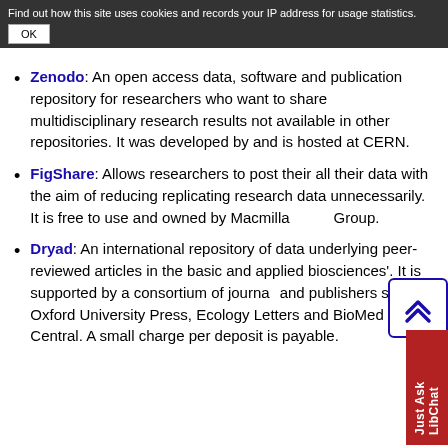Find out how this site uses cookies and records your IP address for usage statistics.
OK
Zenodo: An open access data, software and publication repository for researchers who want to share multidisciplinary research results not available in other repositories. It was developed by and is hosted at CERN.
FigShare: Allows researchers to post their all their data with the aim of reducing replicating research data unnecessarily. It is free to use and owned by Macmillan Group.
Dryad: An international repository of data underlying peer-reviewed articles in the basic and applied biosciences'. It is supported by a consortium of journals and publishers such as Oxford University Press, Ecology Letters and BioMed Central. A small charge per deposit is payable.